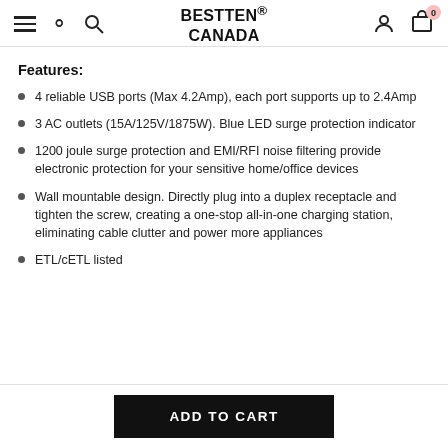BESTTEN® CANADA
Features:
4 reliable USB ports (Max 4.2Amp), each port supports up to 2.4Amp
3 AC outlets (15A/125V/1875W). Blue LED surge protection indicator
1200 joule surge protection and EMI/RFI noise filtering provide electronic protection for your sensitive home/office devices
Wall mountable design. Directly plug into a duplex receptacle and tighten the screw, creating a one-stop all-in-one charging station, eliminating cable clutter and power more appliances
ETL/cETL listed
ADD TO CART